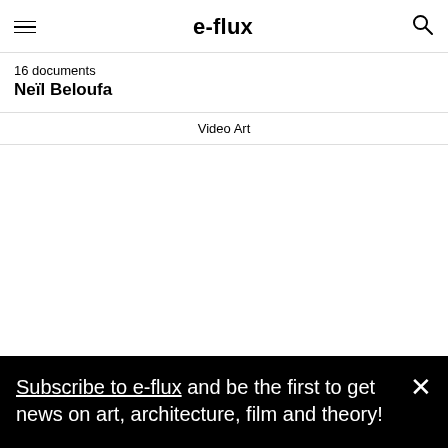e-flux
16 documents
Neïl Beloufa
Video Art
Subscribe to e-flux and be the first to get news on art, architecture, film and theory!